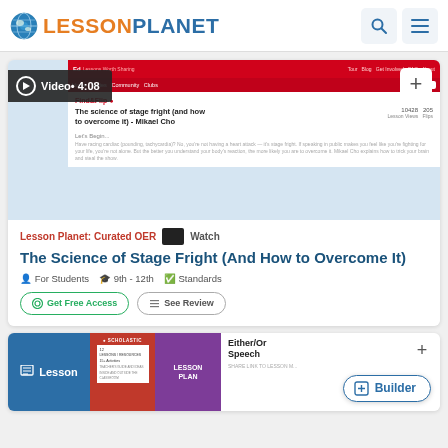Lesson Planet
[Figure (screenshot): TED-Ed video thumbnail showing 'The science of stage fright (and how to overcome it) - Mikael Cho' with Find and Flip interface, 10428 Lesson Views, 205 Flips]
Video • 4:08
Lesson Planet: Curated OER   Watch
The Science of Stage Fright (And How to Overcome It)
For Students   9th - 12th   Standards
Get Free Access   See Review
[Figure (screenshot): Lesson plan card showing Scholastic branding, purple 'Lesson Plan' badge, and 'Either/Or Speech' lesson content]
Lesson
Builder